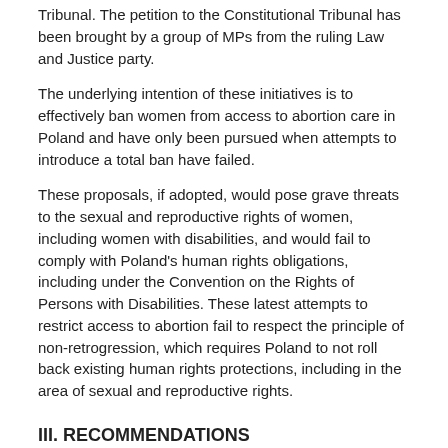Tribunal. The petition to the Constitutional Tribunal has been brought by a group of MPs from the ruling Law and Justice party.
The underlying intention of these initiatives is to effectively ban women from access to abortion care in Poland and have only been pursued when attempts to introduce a total ban have failed.
These proposals, if adopted, would pose grave threats to the sexual and reproductive rights of women, including women with disabilities, and would fail to comply with Poland's human rights obligations, including under the Convention on the Rights of Persons with Disabilities. These latest attempts to restrict access to abortion fail to respect the principle of non-retrogression, which requires Poland to not roll back existing human rights protections, including in the area of sexual and reproductive rights.
III. RECOMMENDATIONS
Women and girls with disabilities must be able to make decisions for themselves about their sexuality and reproduction, including with support to ensure their voluntary and informed consent when needed.